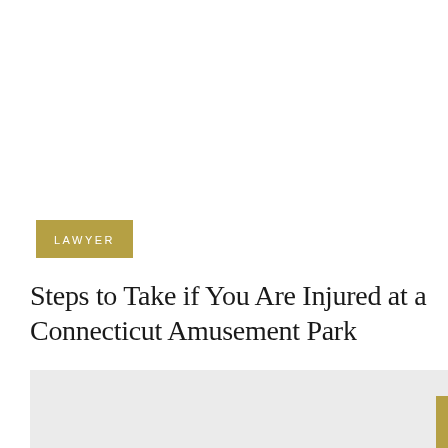LAWYER
Steps to Take if You Are Injured at a Connecticut Amusement Park
[Figure (photo): Light gray rectangular image placeholder area at the bottom of the page]